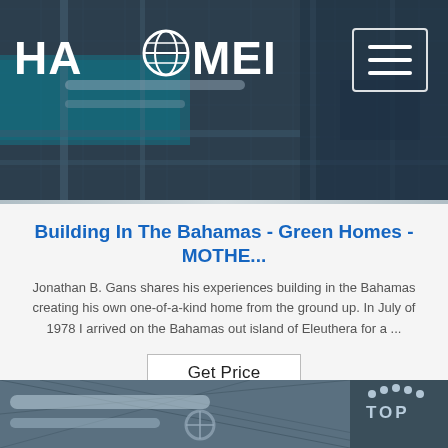[Figure (screenshot): HAOMEI company logo with globe icon on dark industrial background with hamburger menu button in top right]
Building In The Bahamas - Green Homes - MOTHE...
Jonathan B. Gans shares his experiences building in the Bahamas creating his own one-of-a-kind home from the ground up. In July of 1978 I arrived on the Bahamas out island of Eleuthera for a ...
Get Price
[Figure (photo): Industrial machinery with pipes, metal grating and equipment, with TOP navigation indicator in bottom right]